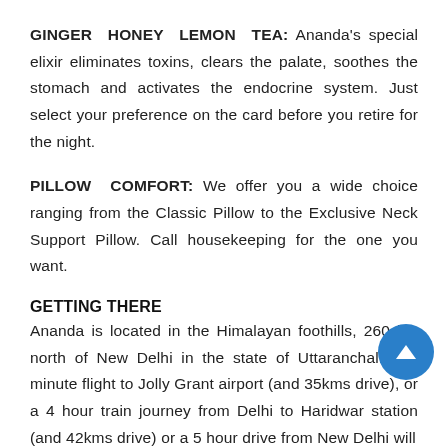GINGER HONEY LEMON TEA: Ananda's special elixir eliminates toxins, clears the palate, soothes the stomach and activates the endocrine system. Just select your preference on the card before you retire for the night.
PILLOW COMFORT: We offer you a wide choice ranging from the Classic Pillow to the Exclusive Neck Support Pillow. Call housekeeping for the one you want.
GETTING THERE
Ananda is located in the Himalayan foothills, 260 km north of New Delhi in the state of Uttaranchal. A 4 minute flight to Jolly Grant airport (and 35kms drive), or a 4 hour train journey from Delhi to Haridwar station (and 42kms drive) or a 5 hour drive from New Delhi will